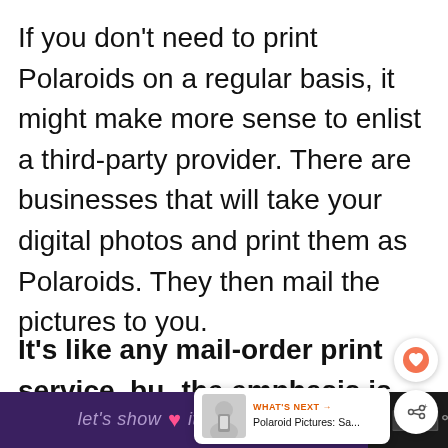If you don't need to print Polaroids on a regular basis, it might make more sense to enlist a third-party provider. There are businesses that will take your digital photos and print them as Polaroids. They then mail the pictures to you.
It's like any mail-order print service, but the emphasis is on producing Polaroid prints. This can be a lot cheaper than buying a printer if you're not exp[ecting to] need Polaroids very often.
[Figure (screenshot): A 'What's Next' popup overlay showing a thumbnail of a person with 'Polaroid Pictures: Sa...' text, with a heart/favorite button and share button on the right side of the screen.]
[Figure (screenshot): Bottom browser bar with dark purple background showing 'let's show it some love' text with a pink heart emoji, and a dark section on the right with three dot logo/icon.]